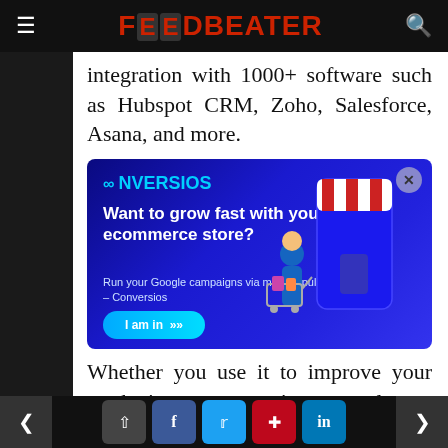FOODBEATER
integration with 1000+ software such as Hubspot CRM, Zoho, Salesforce, Asana, and more.
[Figure (illustration): Conversios advertisement banner with dark blue background. Logo reads 'CONVERSIOS' with infinity-style icon. Headline: 'Want to grow fast with your ecommerce store?' Subtext: 'Run your Google campaigns via most popular plugin – Conversios'. Button: 'I am in >>'. Right side shows illustrated woman shopping with a phone/store graphic.]
Whether you use it to improve your marketing strategy or increase sales
< [share] [f] [twitter] [pinterest] [in] >